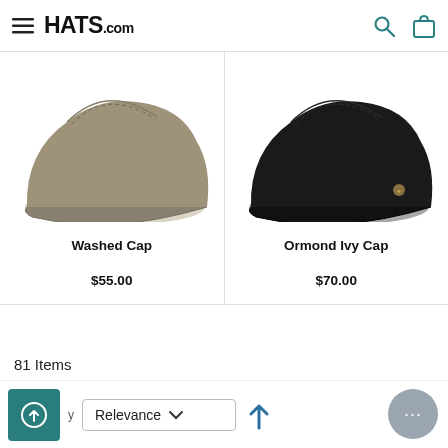HATS.com
[Figure (photo): Olive/tan flat cap (Washed Cap) shown from the side, cropped at top]
Washed Cap
$55.00
[Figure (photo): Black flat ivy cap (Ormond Ivy Cap) shown from the side, cropped at top]
Ormond Ivy Cap
$70.00
81 Items
Relevance